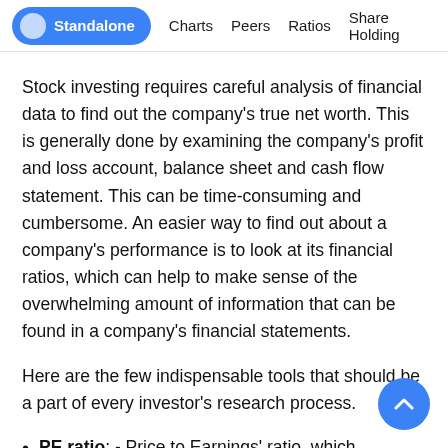Standalone   Charts   Peers   Ratios   Share Holding
Stock investing requires careful analysis of financial data to find out the company's true net worth. This is generally done by examining the company's profit and loss account, balance sheet and cash flow statement. This can be time-consuming and cumbersome. An easier way to find out about a company's performance is to look at its financial ratios, which can help to make sense of the overwhelming amount of information that can be found in a company's financial statements.
Here are the few indispensable tools that should be a part of every investor's research process.
PE ratio: - Price to Earnings' ratio, which